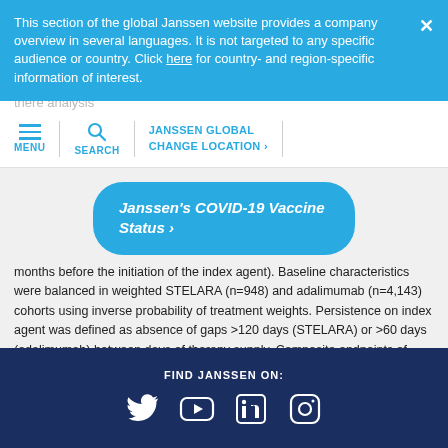This section of the global Janssen website provides a company overview in several languages. It is not targeted to any specific audience or country. Click here for country- and region-specific information of interest.
MENU | SEARCH | JANSSEN GLOBAL CHANGE LOCATION >
months before the initiation of the index agent). Baseline characteristics were balanced in weighted STELARA (n=948) and adalimumab (n=4,143) cohorts using inverse probability of treatment weights. Persistence on index agent was defined as absence of gaps >120 days (STELARA) or >60 days (adalimumab) between days of therapy supply. Composite endpoints of being persistent on index biologic and corticosteroid-free (<14 days of supply after day 90 post-index) and persistent and on monotherapy (no immunomodulators or non-index biologics) were assessed. All endpoints were estimated at 12 months post-index using weighted Kaplan-Meier and Cox's proportional hazards
[Figure (other): Janssen's COVID-19 Vaccine Status > tooltip bubble in blue]
FIND JANSSEN ON: Twitter, YouTube, LinkedIn, Instagram